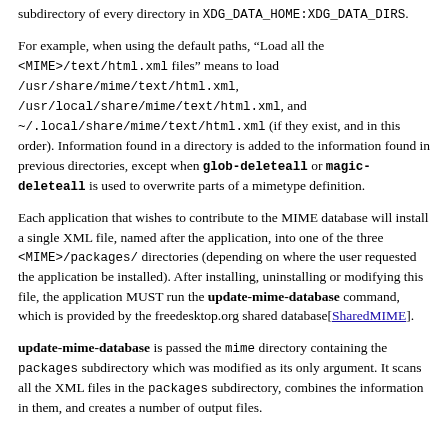subdirectory of every directory in XDG_DATA_HOME:XDG_DATA_DIRS.
For example, when using the default paths, “Load all the <MIME>/text/html.xml files” means to load /usr/share/mime/text/html.xml, /usr/local/share/mime/text/html.xml, and ~/.local/share/mime/text/html.xml (if they exist, and in this order). Information found in a directory is added to the information found in previous directories, except when glob-deleteall or magic-deleteall is used to overwrite parts of a mimetype definition.
Each application that wishes to contribute to the MIME database will install a single XML file, named after the application, into one of the three <MIME>/packages/ directories (depending on where the user requested the application be installed). After installing, uninstalling or modifying this file, the application MUST run the update-mime-database command, which is provided by the freedesktop.org shared database[SharedMIME].
update-mime-database is passed the mime directory containing the packages subdirectory which was modified as its only argument. It scans all the XML files in the packages subdirectory, combines the information in them, and creates a number of output files.